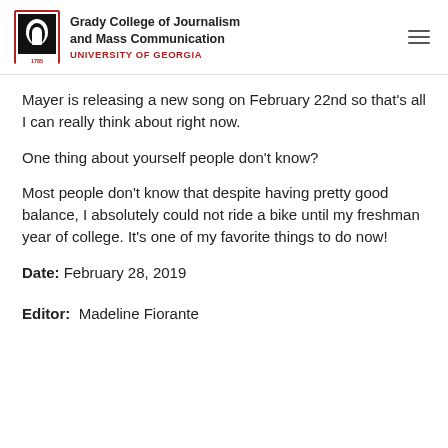Grady College of Journalism and Mass Communication — UNIVERSITY OF GEORGIA
Mayer is releasing a new song on February 22nd so that's all I can really think about right now.
One thing about yourself people don't know?
Most people don't know that despite having pretty good balance, I absolutely could not ride a bike until my freshman year of college. It's one of my favorite things to do now!
Date: February 28, 2019
Editor: Madeline Fiorante